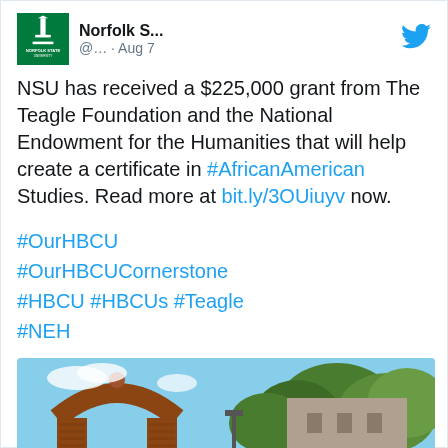[Figure (screenshot): Twitter/X post by Norfolk State University (@...) dated Aug 7, with NSU logo and Twitter bird icon]
NSU has received a $225,000 grant from The Teagle Foundation and the National Endowment for the Humanities that will help create a certificate in #AfricanAmerican Studies. Read more at bit.ly/3OUiuyv now.
#OurHBCU #OurHBCUCornerstone #HBCU #HBCUs #Teagle #NEH
[Figure (photo): Photo of Norfolk State University campus entrance with brick arch gate and signage reading Norfolk State University, surrounded by green trees and yellow flowers under blue sky]